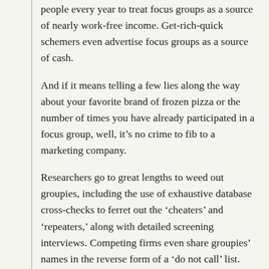people every year to treat focus groups as a source of nearly work-free income. Get-rich-quick schemers even advertise focus groups as a source of cash.
And if it means telling a few lies along the way about your favorite brand of frozen pizza or the number of times you have already participated in a focus group, well, it’s no crime to fib to a marketing company.
Researchers go to great lengths to weed out groupies, including the use of exhaustive database cross-checks to ferret out the ‘cheaters’ and ‘repeaters,’ along with detailed screening interviews. Competing firms even share groupies’ names in the reverse form of a ‘do not call’ list.
‘It’s bad for the whole industry so we cooperate